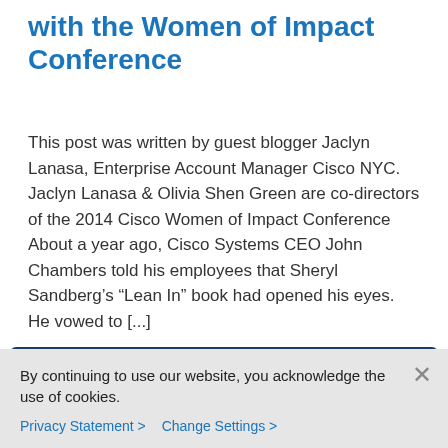with the Women of Impact Conference
This post was written by guest blogger Jaclyn Lanasa, Enterprise Account Manager Cisco NYC. Jaclyn Lanasa & Olivia Shen Green are co-directors of the 2014 Cisco Women of Impact Conference About a year ago, Cisco Systems CEO John Chambers told his employees that Sheryl Sandberg’s “Lean In” book had opened his eyes. He vowed to [...]
[Figure (infographic): Social sharing bar with LinkedIn, Twitter, Facebook, and email icons on dark blue background]
[Figure (infographic): Metadata bar showing date October 4, 2013, comment count 2, and CORPORATE SOCIAL RESPONSIBILITY tag on dark blue background]
By continuing to use our website, you acknowledge the use of cookies.
Privacy Statement > Change Settings >